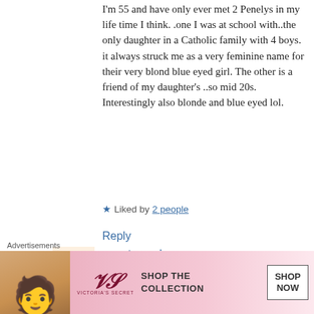I'm 55 and have only ever met 2 Penelys in my life time I think. .one I was at school with..the only daughter in a Catholic family with 4 boys. it always struck me as a very feminine name for their very blond blue eyed girl.
The other is a friend of my daughter's ..so mid 20s. Interestingly also blonde and blue eyed lol.
★ Liked by 2 people
Reply
[Figure (illustration): Floral avatar icon with roses and fruits]
sanctanomina
February 24, 2017 at 6:09 pm
Advertisements
[Figure (infographic): Victoria's Secret advertisement banner: SHOP THE COLLECTION / SHOP NOW]